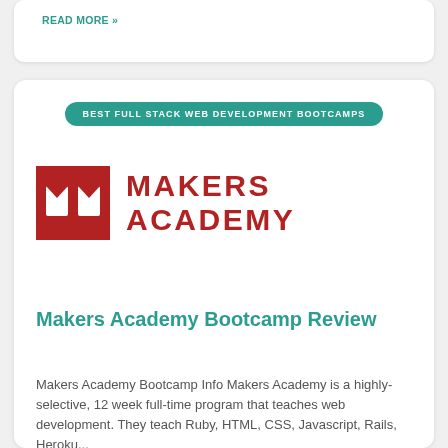READ MORE »
BEST FULL STACK WEB DEVELOPMENT BOOTCAMPS
[Figure (logo): Makers Academy logo: red square with white open book icon, followed by red uppercase text MAKERS ACADEMY]
Makers Academy Bootcamp Review
Makers Academy Bootcamp Info Makers Academy is a highly-selective, 12 week full-time program that teaches web development. They teach Ruby, HTML, CSS, Javascript, Rails, Heroku...